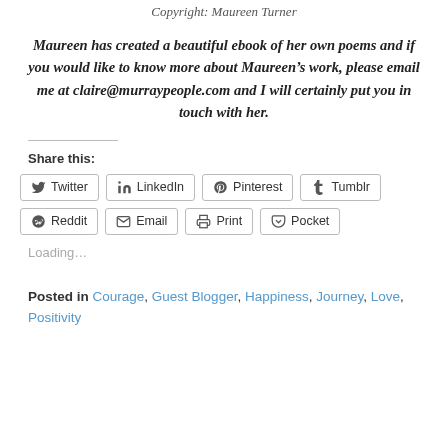Copyright: Maureen Turner
Maureen has created a beautiful ebook of her own poems and if you would like to know more about Maureen’s work, please email me at claire@murraypeople.com and I will certainly put you in touch with her.
Share this:
Twitter LinkedIn Pinterest Tumblr Reddit Email Print Pocket
Loading…
Posted in Courage, Guest Blogger, Happiness, Journey, Love, Positivity